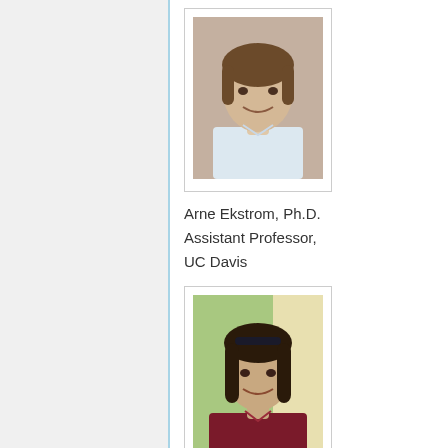[Figure (photo): Headshot of Arne Ekstrom, a man with medium-length brown hair, smiling, wearing a light blue shirt, with a patterned background.]
Arne Ekstrom, Ph.D.
Assistant Professor,
UC Davis
[Figure (photo): Headshot of Samantha Ellner, a woman with dark hair, smiling, wearing a red/maroon top, with an outdoor/blurred background.]
Samantha Ellner
Sr. Manager,
Transformation Office